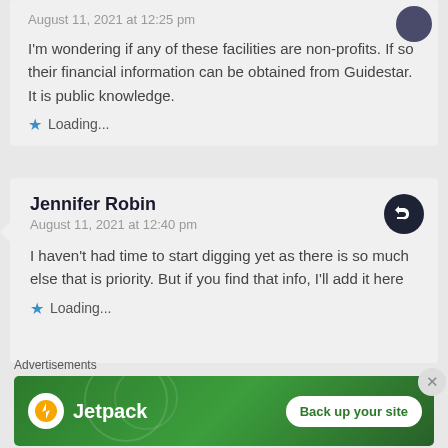August 11, 2021 at 12:25 pm
I'm wondering if any of these facilities are non-profits. If so their financial information can be obtained from Guidestar. It is public knowledge.
Loading...
Jennifer Robin
August 11, 2021 at 12:40 pm
I haven't had time to start digging yet as there is so much else that is priority. But if you find that info, I'll add it here
Loading...
Advertisements
[Figure (other): Jetpack advertisement banner with logo and 'Back up your site' button on green background]